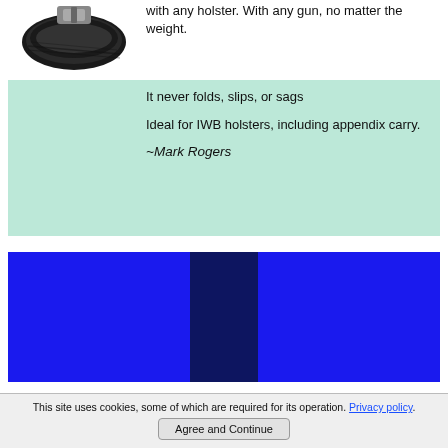[Figure (photo): Black tactical belt coiled/rolled, shown from above on white background]
with any holster. With any gun, no matter the weight.
It never folds, slips, or sags
Ideal for IWB holsters, including appendix carry.
~Mark Rogers
[Figure (photo): Blue tactical belt product image with darker center stripe]
This site uses cookies, some of which are required for its operation. Privacy policy.
Agree and Continue